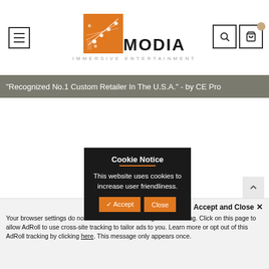[Figure (logo): Modia Immersive Entertainment logo with orange square graphic and diagonal lines, the text MODIA in large dark letters, tagline IMMERSIVE ENTERTAINMENT below]
"Recognized No.1 Custom Retailer In The U.S.A." - by CE Pro
Cookie Notice
This website uses cookies to increase user friendliness.
✓ Accept   Close
Accept and Close ✕
Your browser settings do not allow cross-site tracking for advertising. Click on this page to allow AdRoll to use cross-site tracking to tailor ads to you. Learn more or opt out of this AdRoll tracking by clicking here. This message only appears once.